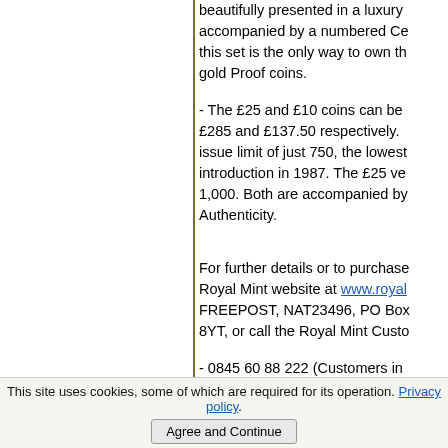beautifully presented in a luxury accompanied by a numbered Ce this set is the only way to own th gold Proof coins.
- The £25 and £10 coins can be £285 and £137.50 respectively. issue limit of just 750, the lowest introduction in 1987. The £25 ve 1,000. Both are accompanied by Authenticity.
For further details or to purchase Royal Mint website at www.royal FREEPOST, NAT23496, PO Box 8YT, or call the Royal Mint Custo
- 0845 60 88 222 (Customers in
This site uses cookies, some of which are required for its operation. Privacy policy.